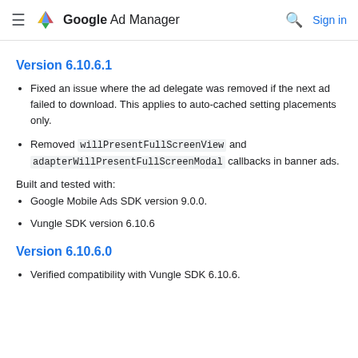Google Ad Manager
Version 6.10.6.1
Fixed an issue where the ad delegate was removed if the next ad failed to download. This applies to auto-cached setting placements only.
Removed willPresentFullScreenView and adapterWillPresentFullScreenModal callbacks in banner ads.
Built and tested with:
Google Mobile Ads SDK version 9.0.0.
Vungle SDK version 6.10.6
Version 6.10.6.0
Verified compatibility with Vungle SDK 6.10.6.